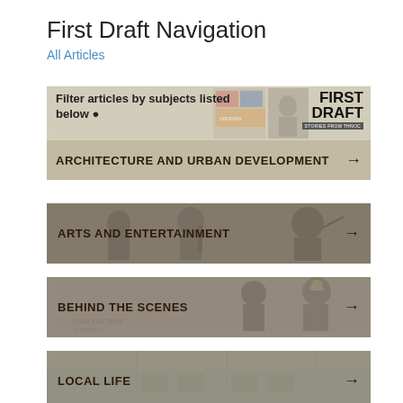First Draft Navigation
All Articles
[Figure (screenshot): Navigation banner for 'First Draft' article filter, showing a header with 'Filter articles by subjects listed below' with a circular arrow icon, decorative photo collage, and FIRST DRAFT logo. Below are four navigation buttons: ARCHITECTURE AND URBAN DEVELOPMENT, ARTS AND ENTERTAINMENT, BEHIND THE SCENES, LOCAL LIFE — each with a right arrow and a sepia-toned background photo.]